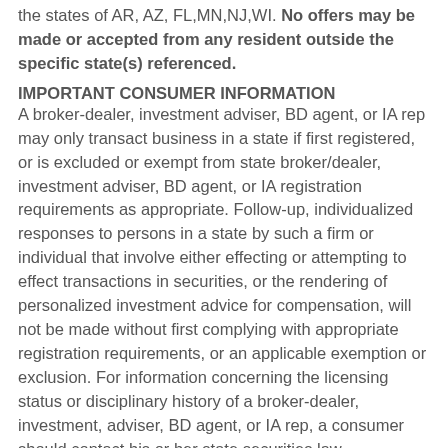the states of AR, AZ, FL,MN,NJ,WI. No offers may be made or accepted from any resident outside the specific state(s) referenced.
IMPORTANT CONSUMER INFORMATION
A broker-dealer, investment adviser, BD agent, or IA rep may only transact business in a state if first registered, or is excluded or exempt from state broker/dealer, investment adviser, BD agent, or IA registration requirements as appropriate. Follow-up, individualized responses to persons in a state by such a firm or individual that involve either effecting or attempting to effect transactions in securities, or the rendering of personalized investment advice for compensation, will not be made without first complying with appropriate registration requirements, or an applicable exemption or exclusion. For information concerning the licensing status or disciplinary history of a broker-dealer, investment, adviser, BD agent, or IA rep, a consumer should contact his or her state securities law administrator.
Site Map